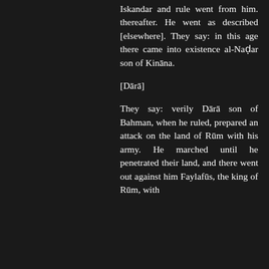Iskandar and rule went from him. thereafter. He went as described [elsewhere]. They say: in this age there came into existence al-Naḍar son of Kināna.
[Dārā]
They say: verily Dārā son of Bahman, when he ruled, prepared an attack on the land of Rūm with his army. He marched until he penetrated their land, and there went out against him Faylafūs, the king of Rūm, with